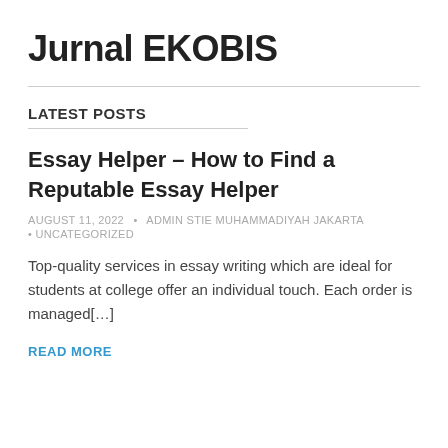Jurnal EKOBIS
LATEST POSTS
Essay Helper – How to Find a Reputable Essay Helper
AUGUST 11, 2022 • ADMIN STIE MUHAMMADIYAH JAKARTA • UNCATEGORIZED
Top-quality services in essay writing which are ideal for students at college offer an individual touch. Each order is managed[…]
READ MORE